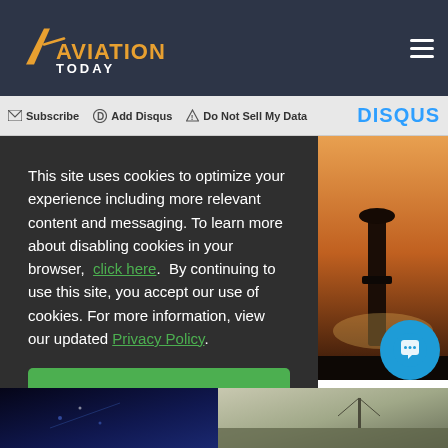Aviation Today
Subscribe  Add Disqus  Do Not Sell My Data  DISQUS
This site uses cookies to optimize your experience including more relevant content and messaging. To learn more about disabling cookies in your browser, click here. By continuing to use this site, you accept our use of cookies. For more information, view our updated Privacy Policy.
I Consent
[Figure (photo): Aviation photo showing aircraft or engine silhouette against orange sunset sky]
ving anches
[Figure (photo): Dark blue nighttime aviation scene, bottom left]
[Figure (photo): Outdoor aviation scene, bottom right]